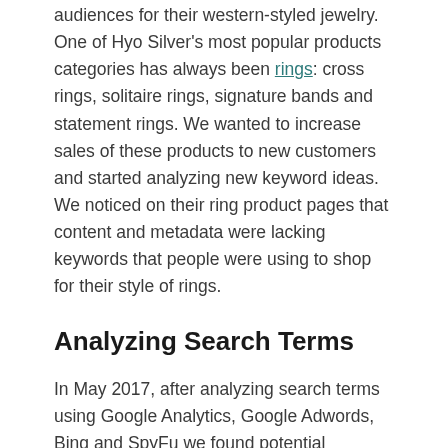audiences for their western-styled jewelry. One of Hyo Silver's most popular products categories has always been rings: cross rings, solitaire rings, signature bands and statement rings. We wanted to increase sales of these products to new customers and started analyzing new keyword ideas. We noticed on their ring product pages that content and metadata were lacking keywords that people were using to shop for their style of rings.
Analyzing Search Terms
In May 2017, after analyzing search terms using Google Analytics, Google Adwords, Bing and SpyFu we found potential customers were searching for western style wedding and engagement rings. The search volume was high and Hyo Silver was missing out on additional traffic to their rings from these search terms. The solitaire rings and bands were purchased as wedding and engagement rings but the content on the website didn't optimize for these